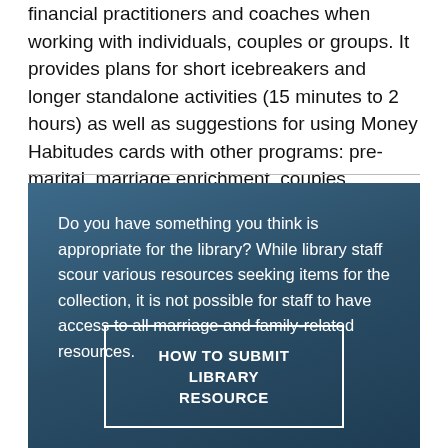financial practitioners and coaches when working with individuals, couples or groups. It provides plans for short icebreakers and longer standalone activities (15 minutes to 2 hours) as well as suggestions for using Money Habitudes cards with other programs: pre-marital, marriage enrichment, couples counseling, communication, conflict management, and life skills, as well…
Do you have something you think is appropriate for the library? While library staff scour various resources seeking items for the collection, it is not possible for staff to have access to all marriage and family-related resources.
HOW TO SUBMIT LIBRARY RESOURCE